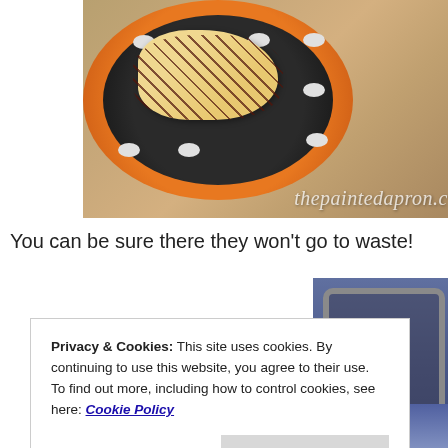[Figure (photo): A photo of pastry/bread items with chocolate drizzle and sprinkles on a black polka-dot plate on an orange plate, on a wooden surface. Watermark text 'thepaintedapron.c' visible at bottom right.]
You can be sure there they won't go to waste!
[Figure (photo): A photo showing a blue wall with an ornate grey picture frame hanging on it.]
Privacy & Cookies: This site uses cookies. By continuing to use this website, you agree to their use.
To find out more, including how to control cookies, see here: Cookie Policy
Close and accept